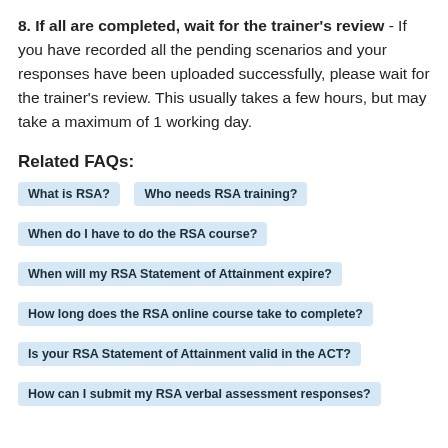8. If all are completed, wait for the trainer's review - If you have recorded all the pending scenarios and your responses have been uploaded successfully, please wait for the trainer's review. This usually takes a few hours, but may take a maximum of 1 working day.
Related FAQs:
What is RSA?
Who needs RSA training?
When do I have to do the RSA course?
When will my RSA Statement of Attainment expire?
How long does the RSA online course take to complete?
Is your RSA Statement of Attainment valid in the ACT?
How can I submit my RSA verbal assessment responses?